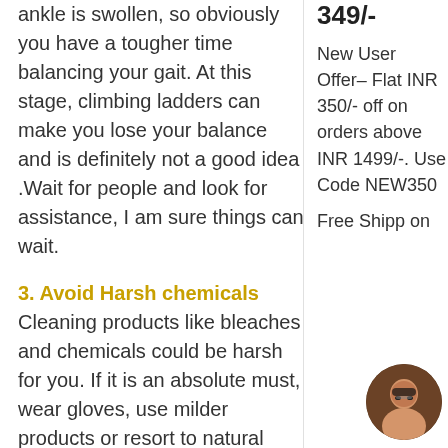ankle is swollen, so obviously you have a tougher time balancing your gait. At this stage, climbing ladders can make you lose your balance and is definitely not a good idea .Wait for people and look for assistance, I am sure things can wait.
3. Avoid Harsh chemicals Cleaning products like bleaches and chemicals could be harsh for you. If it is an absolute must, wear gloves, use milder products or resort to natural cleaning agents like baking soda and vinegar. These
349/-
New User Offer– Flat INR 350/- off on orders above INR 1499/-. Use Code NEW350
Free Shipp on